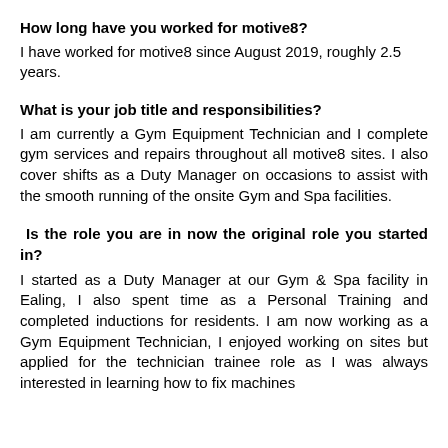How long have you worked for motive8?
I have worked for motive8 since August 2019, roughly 2.5 years.
What is your job title and responsibilities?
I am currently a Gym Equipment Technician and I complete gym services and repairs throughout all motive8 sites. I also cover shifts as a Duty Manager on occasions to assist with the smooth running of the onsite Gym and Spa facilities.
Is the role you are in now the original role you started in?
I started as a Duty Manager at our Gym & Spa facility in Ealing, I also spent time as a Personal Training and completed inductions for residents. I am now working as a Gym Equipment Technician, I enjoyed working on sites but applied for the technician trainee role as I was always interested in learning how to fix machines